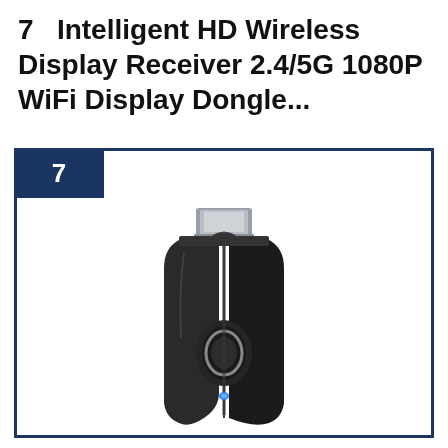7   Intelligent HD Wireless Display Receiver 2.4/5G 1080P WiFi Display Dongle...
[Figure (photo): Product photo of a black WiFi display dongle/receiver with HDMI connector at top, dark body with a circular chrome accent and blue LED indicator at bottom]